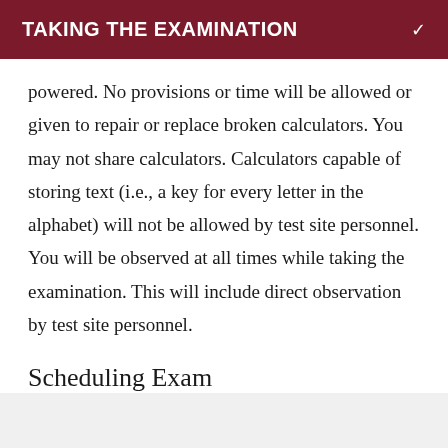TAKING THE EXAMINATION
powered. No provisions or time will be allowed or given to repair or replace broken calculators. You may not share calculators. Calculators capable of storing text (i.e., a key for every letter in the alphabet) will not be allowed by test site personnel. You will be observed at all times while taking the examination. This will include direct observation by test site personnel.
Scheduling Exam